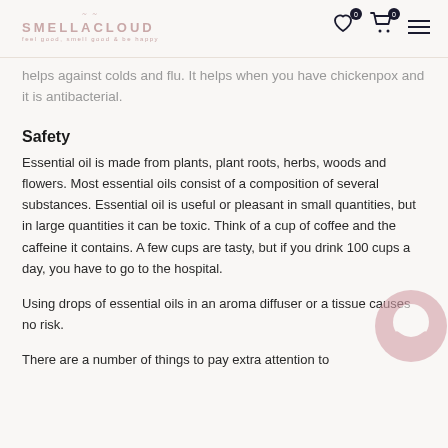SMELLACLOUD — feel good, smell good & be happy
helps against colds and flu. It helps when you have chickenpox and it is antibacterial.
Safety
Essential oil is made from plants, plant roots, herbs, woods and flowers. Most essential oils consist of a composition of several substances. Essential oil is useful or pleasant in small quantities, but in large quantities it can be toxic. Think of a cup of coffee and the caffeine it contains. A few cups are tasty, but if you drink 100 cups a day, you have to go to the hospital.
Using drops of essential oils in an aroma diffuser or a tissue causes no risk.
There are a number of things to pay extra attention to